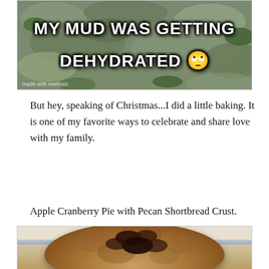[Figure (photo): Meme image with muddy/rocky background texture and white bold text reading 'MY MUD WAS GETTING DEHYDRATED' with a rolling eyes emoji. Watermark 'made with mematic' in bottom left.]
But hey, speaking of Christmas...I did a little baking. It is one of my favorite ways to celebrate and share love with my family.
Apple Cranberry Pie with Pecan Shortbread Crust.
[Figure (photo): Photo of a homemade Apple Cranberry Pie with Pecan Shortbread Crust, showing a rustic dome-shaped pie topped with whole pecans, photographed on a shelf against a light wall.]